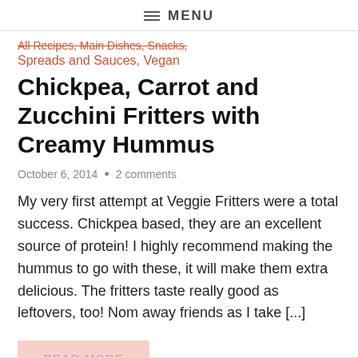≡ MENU
All Recipes, Main Dishes, Snacks, Spreads and Sauces, Vegan
Chickpea, Carrot and Zucchini Fritters with Creamy Hummus
October 6, 2014  •  2 comments
My very first attempt at Veggie Fritters were a total success. Chickpea based, they are an excellent source of protein! I highly recommend making the hummus to go with these, it will make them extra delicious. The fritters taste really good as leftovers, too! Nom away friends as I take [...]
READ MORE